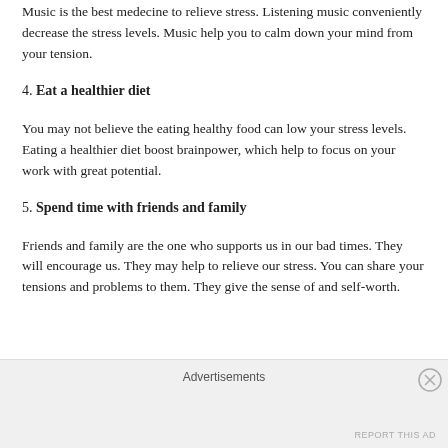Music is the best medecine to relieve stress. Listening music conveniently decrease the stress levels. Music help you to calm down your mind from your tension.
4. Eat a healthier diet
You may not believe the eating healthy food can low your stress levels. Eating a healthier diet boost brainpower, which help to focus on your work with great potential.
5. Spend time with friends and family
Friends and family are the one who supports us in our bad times. They will encourage us. They may help to relieve our stress. You can share your tensions and problems to them. They give the sense of and self-worth.
Advertisements